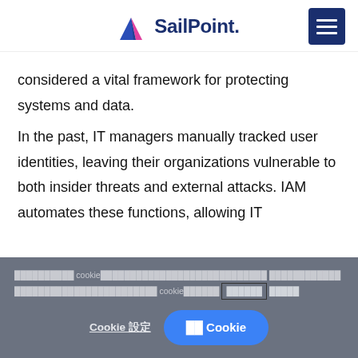[Figure (logo): SailPoint logo with triangular icon in blue and pink, and bold navy text 'SailPoint.']
considered a vital framework for protecting systems and data.

In the past, IT managers manually tracked user identities, leaving their organizations vulnerable to both insider threats and external attacks. IAM automates these functions, allowing IT
[Cookie consent banner with Japanese/redacted text about cookies, with links and buttons: 'Cookie 設定' and '全ての Cookie を受け入れる']